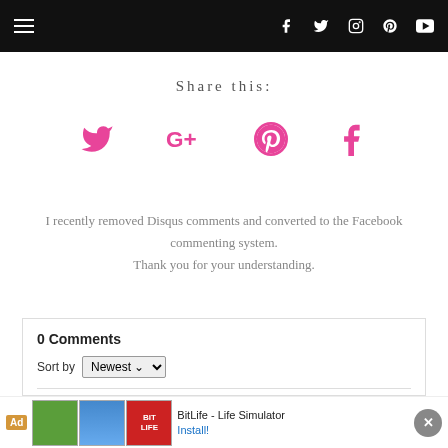Navigation bar with hamburger menu and social icons (Facebook, Twitter, Instagram, Pinterest, YouTube)
Share this:
[Figure (illustration): Four pink social media share icons: Twitter bird, Google+, Pinterest, Facebook]
I recently removed Disqus comments and converted to the Facebook commenting system. Thank you for your understanding.
0 Comments
Sort by Newest
Ad — BitLife - Life Simulator — Install!